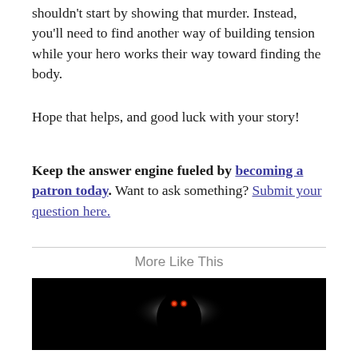shouldn't start by showing that murder. Instead, you'll need to find another way of building tension while your hero works their way toward finding the body.
Hope that helps, and good luck with your story!
Keep the answer engine fueled by becoming a patron today. Want to ask something? Submit your question here.
More Like This
[Figure (photo): Dark photo of a silhouetted figure with glowing red/orange dots for eyes, backlit by a bright halo of light against a black background.]